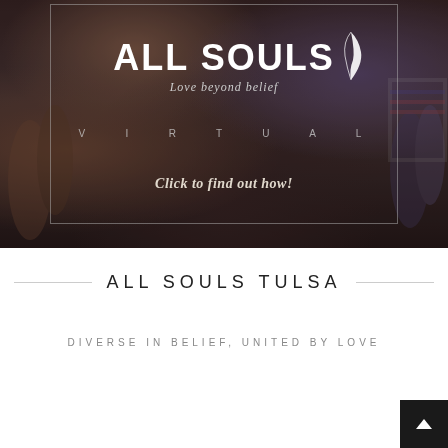[Figure (photo): Dark background image showing a crowd of people with an overlaid bordered box containing the All Souls church logo, tagline 'Love beyond belief', the word 'VIRTUAL', and text 'Click to find out how!']
ALL SOULS TULSA
DIVERSE IN BELIEF, UNITED BY LOVE